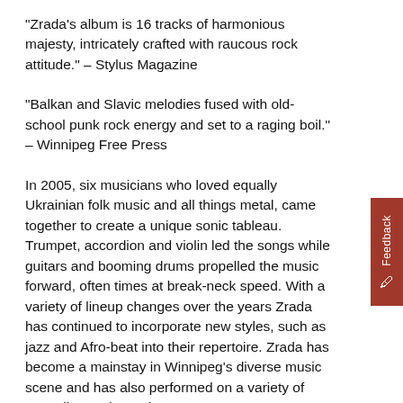"Zrada's album is 16 tracks of harmonious majesty, intricately crafted with raucous rock attitude." – Stylus Magazine
"Balkan and Slavic melodies fused with old-school punk rock energy and set to a raging boil." – Winnipeg Free Press
In 2005, six musicians who loved equally Ukrainian folk music and all things metal, came together to create a unique sonic tableau. Trumpet, accordion and violin led the songs while guitars and booming drums propelled the music forward, often times at break-neck speed. With a variety of lineup changes over the years Zrada has continued to incorporate new styles, such as jazz and Afro-beat into their repertoire. Zrada has become a mainstay in Winnipeg's diverse music scene and has also performed on a variety of Canadian and American stages. Recent performances include headlining at the Festival du Voyageur, Big Fun Music